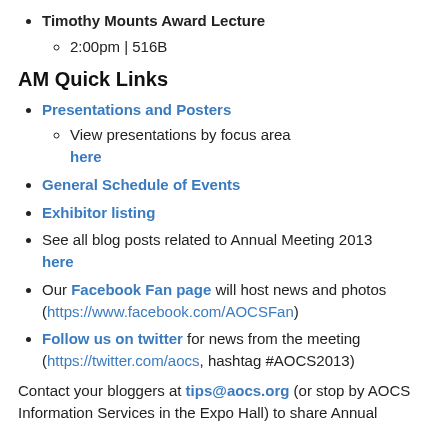Timothy Mounts Award Lecture
2:00pm | 516B
AM Quick Links
Presentations and Posters
View presentations by focus area here
General Schedule of Events
Exhibitor listing
See all blog posts related to Annual Meeting 2013 here
Our Facebook Fan page will host news and photos (https://www.facebook.com/AOCSFan)
Follow us on twitter for news from the meeting (https://twitter.com/aocs, hashtag #AOCS2013)
Contact your bloggers at tips@aocs.org (or stop by AOCS Information Services in the Expo Hall) to share Annual